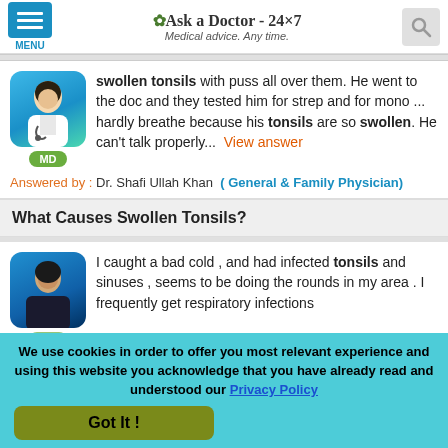Ask a Doctor - 24x7 | Medical advice. Any time.
swollen tonsils with puss all over them. He went to the doc and they tested him for strep and for mono ... hardly breathe because his tonsils are so swollen. He can't talk properly... View answer
Answered by : Dr. Shafi Ullah Khan ( General & Family Physician)
What Causes Swollen Tonsils?
I caught a bad cold , and had infected tonsils and sinuses , seems to be doing the rounds in my area . I frequently get respiratory infections
We use cookies in order to offer you most relevant experience and using this website you acknowledge that you have already read and understood our Privacy Policy
Got It !